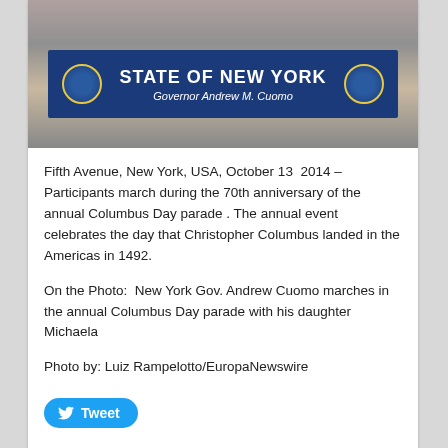[Figure (photo): Parade photo showing people holding a blue State of New York / Governor Andrew M. Cuomo banner on Fifth Avenue]
Fifth Avenue, New York, USA, October 13  2014 – Participants march during the 70th anniversary of the annual Columbus Day parade . The annual event celebrates the day that Christopher Columbus landed in the Americas in 1492.
On the Photo:  New York Gov. Andrew Cuomo marches in the annual Columbus Day parade with his daughter Michaela
Photo by: Luiz Rampelotto/EuropaNewswire